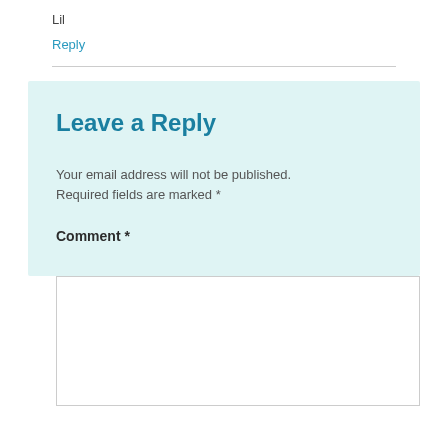Lil
Reply
Leave a Reply
Your email address will not be published. Required fields are marked *
Comment *